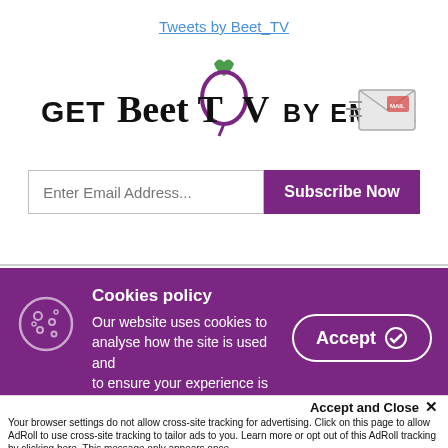Tweets by Beet_TV
[Figure (logo): GET Beet TV BY EMAIL logo with beet graphic and envelope icon]
Enter Email Address...
Subscribe Now
Cookies policy
Our website uses cookies to analyse how the site is used and to ensure your experience is
Accept
Accept and Close ✕
Your browser settings do not allow cross-site tracking for advertising. Click on this page to allow AdRoll to use cross-site tracking to tailor ads to you. Learn more or opt out of this AdRoll tracking by clicking here. This message only appears once.